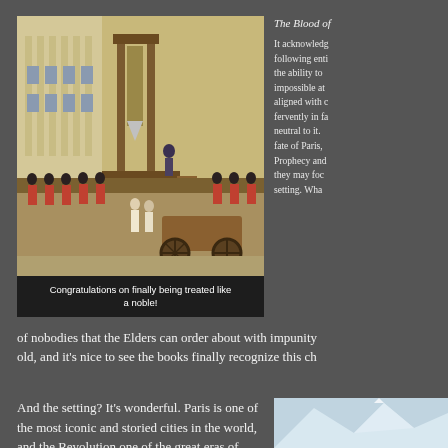[Figure (illustration): Historical painting of a guillotine execution scene during the French Revolution, showing a large crowd of soldiers in red coats and civilians, a scaffold with guillotine, and a cart in the foreground.]
Congratulations on finally being treated like a noble!
The Blood of [truncated] It acknowledg following enti the ability to impossible at aligned with c fervently in fa neutral to it. fate of Paris, Prophecy and they may foc setting. Wha
of nobodies that the Elders can order about with impunity old, and it's nice to see the books finally recognize this ch
And the setting? It's wonderful. Paris is one of the most iconic and storied cities in the world, and the Revolution one of the great eras of history. It's a vibrant, chaotic, messy, and fascinating location for a Chronicle, of any length. Not to
[Figure (photo): Partial photograph of a mountain landscape, showing snow-capped peaks and misty blue-grey tones, partially cut off at the right edge.]